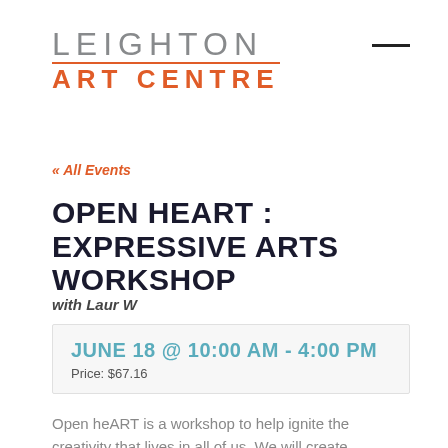[Figure (logo): Leighton Art Centre logo with grey LEIGHTON text, orange divider line, and orange ART CENTRE text]
« All Events
OPEN HEART : EXPRESSIVE ARTS WORKSHOP
with Laur W
JUNE 18 @ 10:00 AM - 4:00 PM
Price: $67.16
Open heART is a workshop to help ignite the creativity that lives in all of us. We will create connections with one another and practice